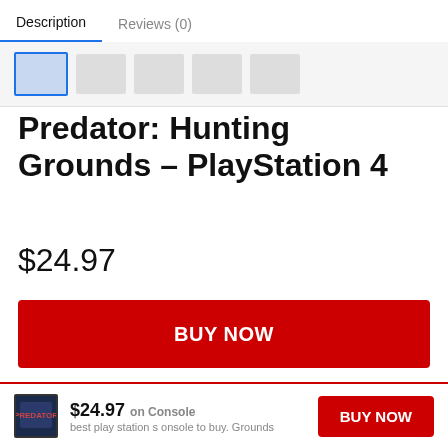Description   Reviews (0)
Predator: Hunting Grounds – PlayStation 4
$24.97
BUY NOW
[Figure (screenshot): Small thumbnail image with shuffle/compare icon]
$24.97   BUY NOW